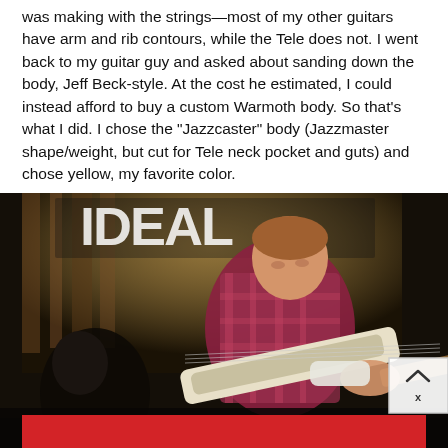was making with the strings—most of my other guitars have arm and rib contours, while the Tele does not. I went back to my guitar guy and asked about sanding down the body, Jeff Beck-style. At the cost he estimated, I could instead afford to buy a custom Warmoth body. So that's what I did. I chose the "Jazzcaster" body (Jazzmaster shape/weight, but cut for Tele neck pocket and guts) and chose yellow, my favorite color.
[Figure (photo): A guitarist performing on stage under dim concert lighting, leaning over his guitar. In the background partial signage reading 'IDEAL' is visible. A Guitar Center advertisement banner overlaid at the bottom shows '25% OFF' with the Guitar Center logo on a red-to-orange gradient background.]